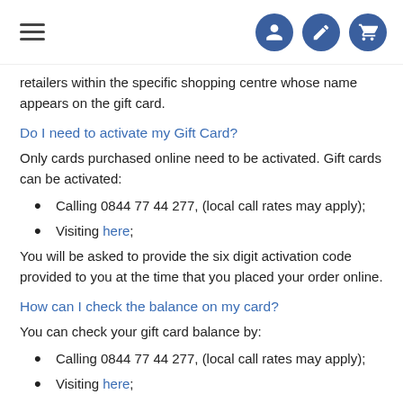Navigation header with hamburger menu and user/edit/cart icons
retailers within the specific shopping centre whose name appears on the gift card.
Do I need to activate my Gift Card?
Only cards purchased online need to be activated. Gift cards can be activated:
Calling 0844 77 44 277, (local call rates may apply);
Visiting here;
You will be asked to provide the six digit activation code provided to you at the time that you placed your order online.
How can I check the balance on my card?
You can check your gift card balance by:
Calling 0844 77 44 277, (local call rates may apply);
Visiting here;
Visiting the customer service desk in your chosen shopping centre;
How can I check my Gift Card balance?